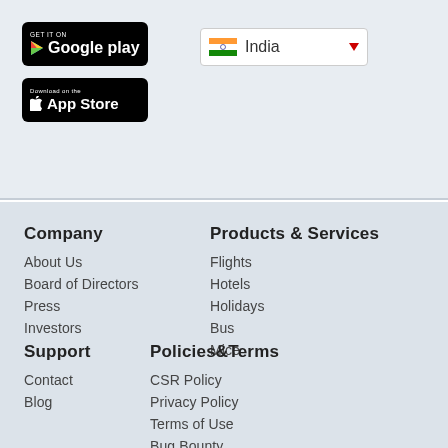[Figure (screenshot): Google Play store download button (black, rounded rectangle) with play triangle icon]
[Figure (screenshot): App Store download button (black, rounded rectangle) with Apple logo icon]
[Figure (screenshot): Country selector dropdown showing India with Indian flag and red dropdown arrow]
Company
About Us
Board of Directors
Press
Investors
Products & Services
Flights
Hotels
Holidays
Bus
Mice
Support
Contact
Blog
Policies&Terms
CSR Policy
Privacy Policy
Terms of Use
Bug Bounty